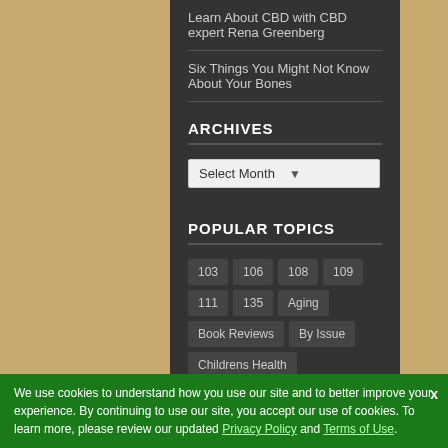Learn About CBD with CBD expert Rena Greenberg
Six Things You Might Not Know About Your Bones
ARCHIVES
Select Month
POPULAR TOPICS
103
106
108
109
111
135
Aging
Book Reviews
By Issue
Childrens Health
Diet & Nutrition
Endocannabinoids
Environment
Fitness & Exercise
Healthy Recipes
We use cookies to understand how you use our site and to better improve your experience. By continuing to use our site, you accept our use of cookies. To learn more, please review our updated Privacy Policy and Terms of Use.